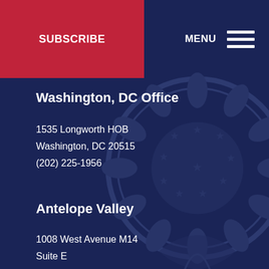SUBSCRIBE | MENU
Washington, DC Office
1535 Longworth HOB
Washington, DC 20515
(202) 225-1956
Antelope Valley
1008 West Avenue M14
Suite E
Palmdale, CA 93551
(661) 839-0532